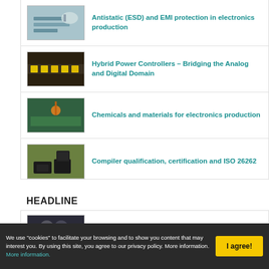[Figure (photo): ESD electronics production - hand working on circuit board]
Antistatic (ESD) and EMI protection in electronics production
[Figure (photo): LED strip light bar with yellow LEDs]
Hybrid Power Controllers – Bridging the Analog and Digital Domain
[Figure (photo): Chemical dispensing on electronics PCB production]
Chemicals and materials for electronics production
[Figure (photo): Compiler qualification chips and modules on green background]
Compiler qualification, certification and ISO 26262
HEADLINE
[Figure (photo): Two people at event - latest issue 2/2022 of SEEIM]
In the latest issue 2/2022 of SEEIM you can read more
We use "cookies" to facilitate your browsing and to show you content that may interest you. By using this site, you agree to our privacy policy. More information. More information.